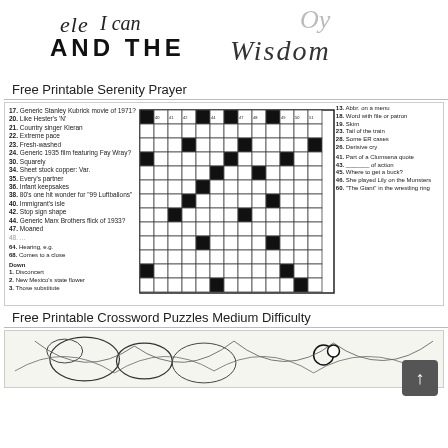[Figure (illustration): Decorative banner with cursive and bold text reading 'AND THE Wisdom' with decorative flourishes]
Free Printable Serenity Prayer
[Figure (other): Crossword puzzle grid with clues - medium difficulty crossword showing a partially visible puzzle grid with across and down clues]
Free Printable Crossword Puzzles Medium Difficulty
[Figure (illustration): Partial view of a coloring page illustration with decorative floral/nature scene]